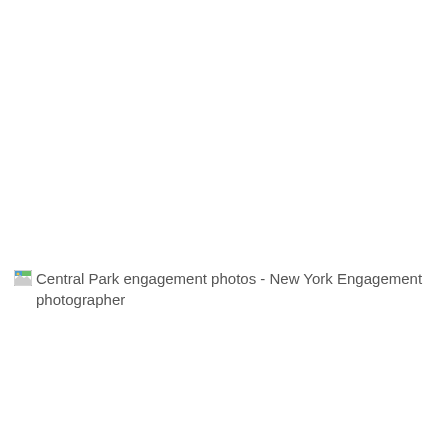[Figure (photo): Broken image placeholder with alt text: 'Central Park engagement photos - New York Engagement photographer']